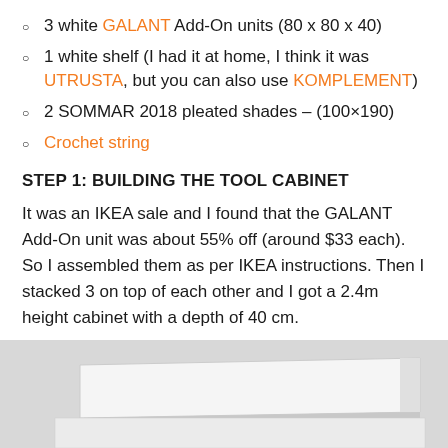3 white GALANT Add-On units (80 x 80 x 40)
1 white shelf (I had it at home, I think it was UTRUSTA, but you can also use KOMPLEMENT)
2 SOMMAR 2018 pleated shades – (100×190)
Crochet string
STEP 1: BUILDING THE TOOL CABINET
It was an IKEA sale and I found that the GALANT Add-On unit was about 55% off (around $33 each). So I assembled them as per IKEA instructions. Then I stacked 3 on top of each other and I got a 2.4m height cabinet with a depth of 40 cm.
[Figure (photo): Photo of a white flat-pack furniture panel or shelf component, partially visible at the bottom of the page.]